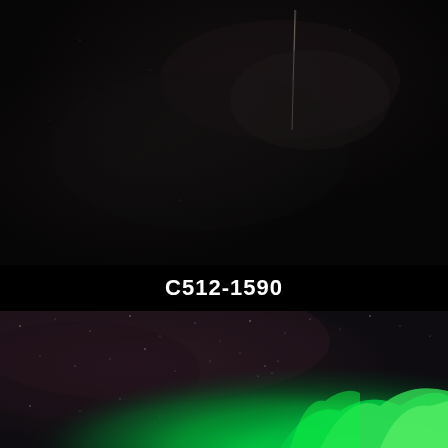[Figure (photo): Night sky photograph showing a dark scene with a faint vertical streak of light (possibly a comet or meteor trail) against a very dark background with subtle atmospheric glow.]
C512-1590
[Figure (photo): Night sky photograph showing stars and a prominent green aurora borealis (northern lights) glowing in the lower right portion of the image, with a dark reddish-purple sky and scattered stars visible.]